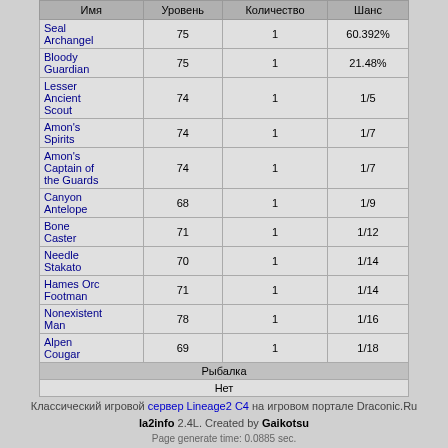| Имя | Уровень | Количество | Шанс |
| --- | --- | --- | --- |
| Seal Archangel | 75 | 1 | 60.392% |
| Bloody Guardian | 75 | 1 | 21.48% |
| Lesser Ancient Scout | 74 | 1 | 1/5 |
| Amon's Spirits | 74 | 1 | 1/7 |
| Amon's Captain of the Guards | 74 | 1 | 1/7 |
| Canyon Antelope | 68 | 1 | 1/9 |
| Bone Caster | 71 | 1 | 1/12 |
| Needle Stakato | 70 | 1 | 1/14 |
| Hames Orc Footman | 71 | 1 | 1/14 |
| Nonexistent Man | 78 | 1 | 1/16 |
| Alpen Cougar | 69 | 1 | 1/18 |
| Рыбалка |  |  |  |
| Нет |  |  |  |
Классический игровой сервер Lineage2 C4 на игровом портале Draconic.Ru la2info 2.4L. Created by Gaikotsu Page generate time: 0.0885 sec.